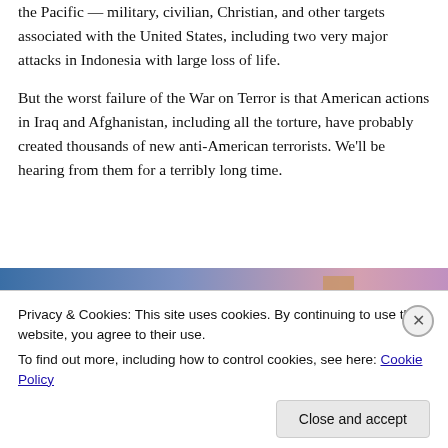American institutions in the Middle East, South Asia and the Pacific — military, civilian, Christian, and other targets associated with the United States, including two very major attacks in Indonesia with large loss of life.
But the worst failure of the War on Terror is that American actions in Iraq and Afghanistan, including all the torture, have probably created thousands of new anti-American terrorists. We'll be hearing from them for a terribly long time.
[Figure (other): A partial view of a gradient banner image transitioning from blue on the left to purple/pink on the right, with a small brownish highlight near the upper center-right area.]
Privacy & Cookies: This site uses cookies. By continuing to use this website, you agree to their use.
To find out more, including how to control cookies, see here: Cookie Policy